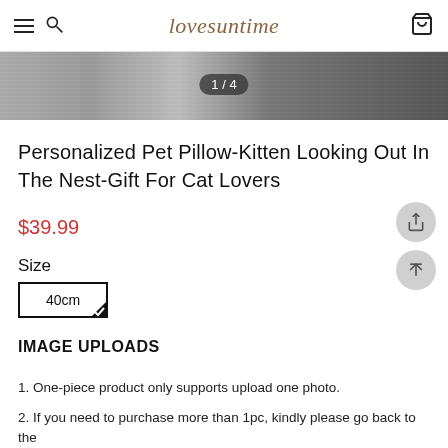lovesuntime
[Figure (photo): Close-up hero image of a pet pillow product, showing fabric texture and zipper detail. Image counter badge reads 1/4.]
Personalized Pet Pillow-Kitten Looking Out In The Nest-Gift For Cat Lovers
$39.99
Size
40cm
IMAGE UPLOADS
1. One-piece product only supports upload one photo.
2. If you need to purchase more than 1pc, kindly please go back to the product page continue to add other products and photos after